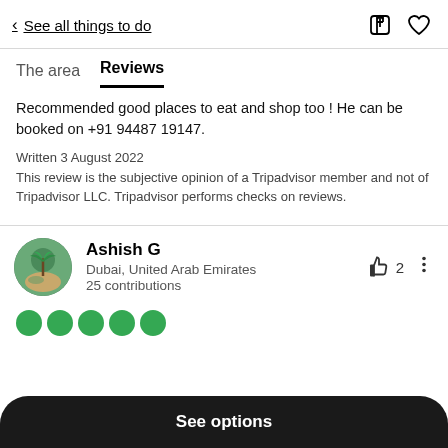< See all things to do
The area   Reviews
Recommended good places to eat and shop too ! He can be booked on +91 94487 19147.
Written 3 August 2022
This review is the subjective opinion of a Tripadvisor member and not of Tripadvisor LLC. Tripadvisor performs checks on reviews.
Ashish G
Dubai, United Arab Emirates
25 contributions
[Figure (other): Five green circles representing a 5-dot (out of 5) rating on Tripadvisor]
See options